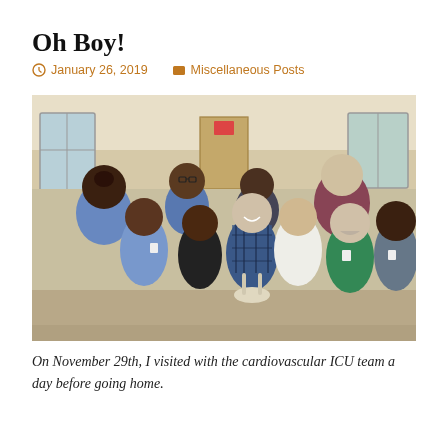Oh Boy!
January 26, 2019   Miscellaneous Posts
[Figure (photo): Group photo of a patient in plaid pajamas surrounded by approximately 10 cardiovascular ICU medical staff members in scrubs, taken in a hospital hallway or room.]
On November 29th, I visited with the cardiovascular ICU team a day before going home.